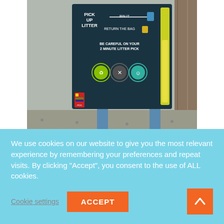[Figure (photo): A litter-picking station board mounted on blue metal legs. The dark board has text instructions including 'PICK UP LITTER', 'BIN IT', 'RETURN THE BAG', 'BE CAREFUL ON YOUR 2 MINUTE LITTER PICK' and circular icons. A yellow progress bar strip is visible on the right side of the board. A small bag/packet hangs on the left side of the board. Background shows gravel ground and wooden post.]
Look for these boards near the beach.
We use cookies on our website to give you the most relevant experience by remembering your preferences and repeat visits. By clicking “Accept”, you consent to the use of ALL cookies.